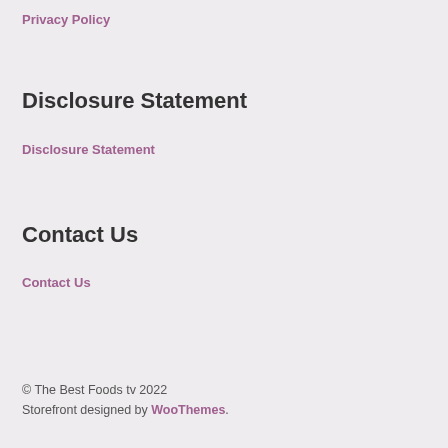Privacy Policy
Disclosure Statement
Disclosure Statement
Contact Us
Contact Us
© The Best Foods tv 2022
Storefront designed by WooThemes.